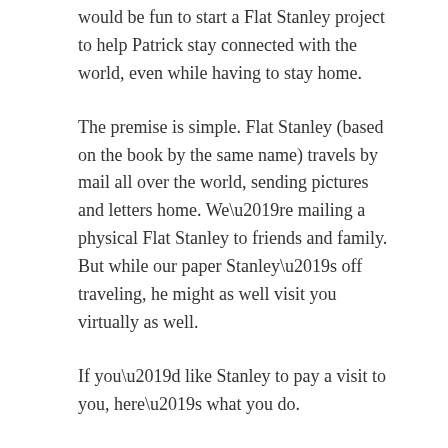would be fun to start a Flat Stanley project to help Patrick stay connected with the world, even while having to stay home.
The premise is simple. Flat Stanley (based on the book by the same name) travels by mail all over the world, sending pictures and letters home. We’re mailing a physical Flat Stanley to friends and family. But while our paper Stanley’s off traveling, he might as well visit you virtually as well.
If you’d like Stanley to pay a visit to you, here’s what you do.
1) Print off a copy of our Flat Stanley:
Printable of Patrick’s Flat Stanley (PDF File)